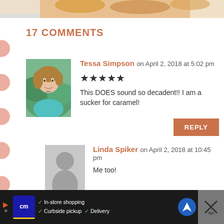[Figure (photo): Partial food photo at top of page showing caramel-colored baked goods]
17 COMMENTS
Tessa Simpson on April 2, 2018 at 5:02 pm
★★★★★
This DOES sound so decadent!! I am a sucker for caramel!
REPLY
Linda Spiker on April 2, 2018 at 10:45 pm
Me too!
[Figure (infographic): Advertisement bar at bottom: City Market ad with in-store shopping, curbside pickup, and delivery options]